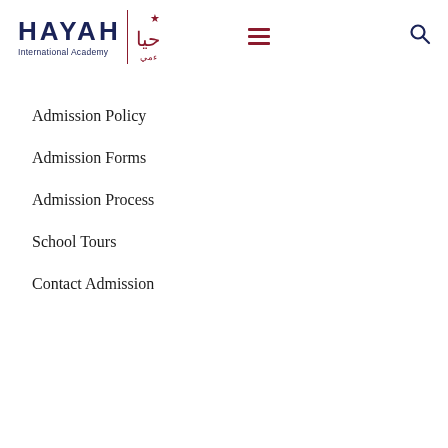[Figure (logo): HAYAH International Academy logo with Arabic text, a red star, and vertical red divider line]
Admission Policy
Admission Forms
Admission Process
School Tours
Contact Admission